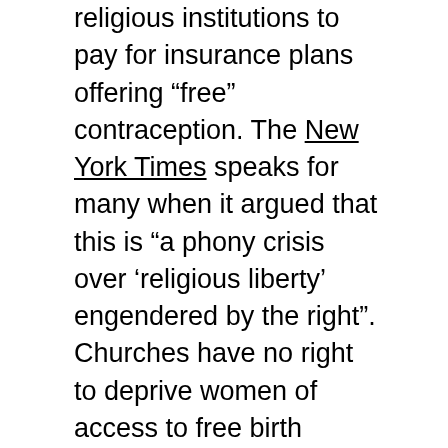religious institutions to pay for insurance plans offering “free” contraception. The New York Times speaks for many when it argued that this is “a phony crisis over ‘religious liberty’ engendered by the right”. Churches have no right to deprive women of access to free birth control.
Let’s leave the place of religion in the public square to one side and look at the ethics of contraception. Mr Obama and his supporters assume that there are no rational reasons to oppose contraception (which includes the